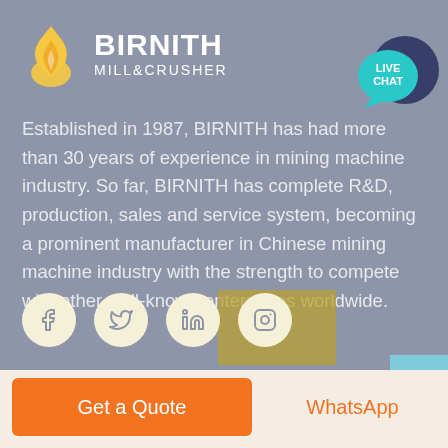[Figure (logo): BIRNITH Mill & Crusher flame logo with brand name]
[Figure (infographic): Live Chat speech bubble icon in teal and dark blue]
Established in 1987, BIRNITH has had more than 30 years of experience in mining machine industry. So far, BIRNITH has complete R&D, production, sales and service system, becoming a prominent manufacturer in Chinese mining machine industry with the strength to compete with other well-known enterprises worldwide.
[Figure (infographic): Four social media icons: Facebook, Twitter, LinkedIn, Instagram in cream circles]
Get a Quote
WhatsApp